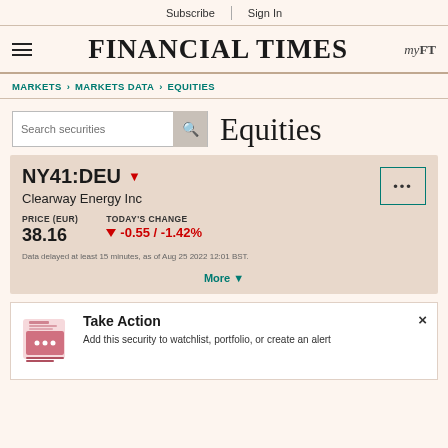Subscribe | Sign In
FINANCIAL TIMES
MARKETS > MARKETS DATA > EQUITIES
Search securities | Equities
NY41:DEU  Clearway Energy Inc  PRICE (EUR) 38.16  TODAY'S CHANGE -0.55 / -1.42%  Data delayed at least 15 minutes, as of Aug 25 2022 12:01 BST.  More
Take Action
Add this security to watchlist, portfolio, or create an alert